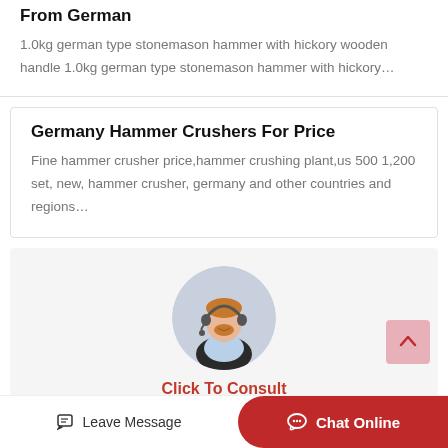From German
1.0kg german type stonemason hammer with hickory wooden handle 1.0kg german type stonemason hammer with hickory…
Germany Hammer Crushers For Price
Fine hammer crusher price,hammer crushing plant,us 500 1,200 set, new, hammer crusher, germany and other countries and regions…
[Figure (photo): Customer service representative with headset, smiling, in a circular avatar frame]
Click To Consult
Leave Message
Chat Online